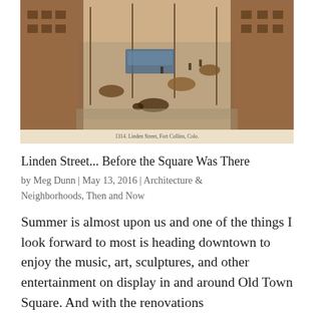[Figure (photo): Historical sepia/color postcard photograph of Linden Street, Fort Collins, Colorado, showing an aerial/elevated view of a busy street with early automobiles, horse-drawn carriages, a trolley, street lamps, and brick buildings lining both sides. Caption at bottom reads: '1314. Linden Street, Fort Collins, Colo.']
Linden Street... Before the Square Was There
by Meg Dunn | May 13, 2016 | Architecture & Neighborhoods, Then and Now
Summer is almost upon us and one of the things I look forward to most is heading downtown to enjoy the music, art, sculptures, and other entertainment on display in and around Old Town Square. And with the renovations